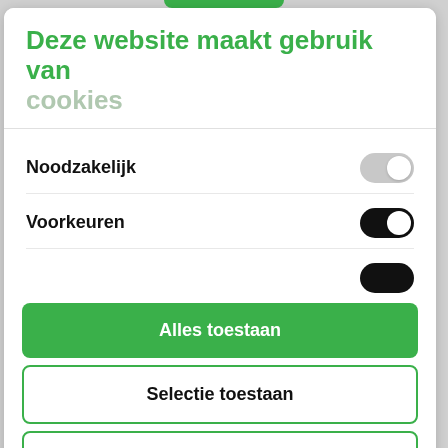Deze website maakt gebruik van cookies
Noodzakelijk
Voorkeuren
Alles toestaan
Selectie toestaan
Weigeren
Powered by Cookiebot by Usercentrics